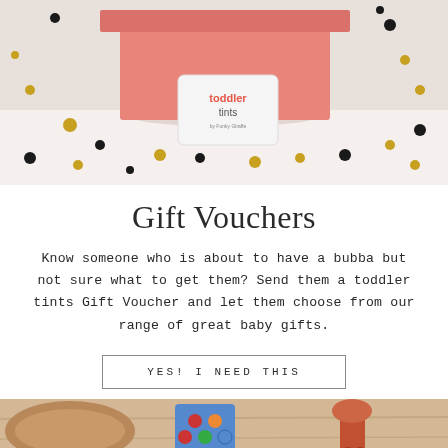[Figure (photo): A pink gift box with a Toddler Tints gift card leaning against it, surrounded by colorful confetti dots on a white surface.]
Gift Vouchers
Know someone who is about to have a bubba but not sure what to get them? Send them a toddler tints Gift Voucher and let them choose from our range of great baby gifts.
YES! I NEED THIS
[Figure (photo): Partial view of baby items including what appears to be a stuffed animal and a toy on a wooden surface.]